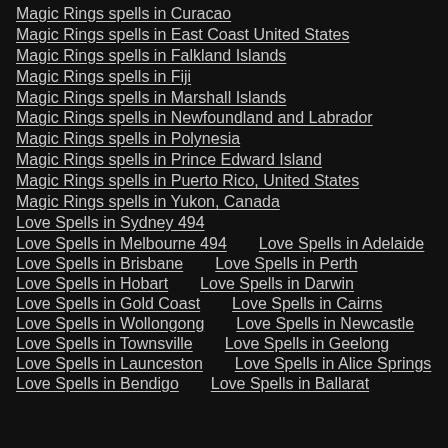Magic Rings spells in Curacao
Magic Rings spells in East Coast United States
Magic Rings spells in Falkland Islands
Magic Rings spells in Fiji
Magic Rings spells in Marshall Islands
Magic Rings spells in Newfoundland and Labrador
Magic Rings spells in Polynesia
Magic Rings spells in Prince Edward Island
Magic Rings spells in Puerto Rico, United States
Magic Rings spells in Yukon, Canada
Love Spells in Sydney 494
Love Spells in Melbourne 494 | Love Spells in Adelaide
Love Spells in Brisbane | Love Spells in Perth
Love Spells in Hobart | Love Spells in Darwin
Love Spells in Gold Coast | Love Spells in Cairns
Love Spells in Wollongong | Love Spells in Newcastle
Love Spells in Townsville | Love Spells in Geelong
Love Spells in Launceston | Love Spells in Alice Springs
Love Spells in Bendigo | Love Spells in Ballarat